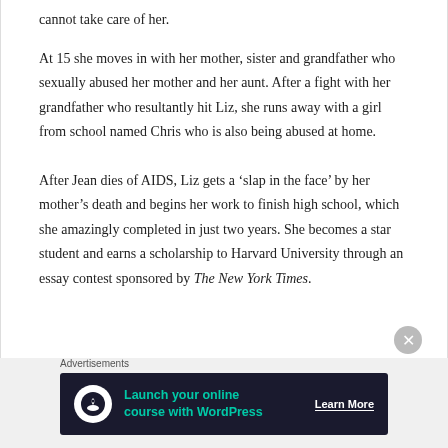cannot take care of her.
At 15 she moves in with her mother, sister and grandfather who sexually abused her mother and her aunt. After a fight with her grandfather who resultantly hit Liz, she runs away with a girl from school named Chris who is also being abused at home.
After Jean dies of AIDS, Liz gets a ‘slap in the face’ by her mother’s death and begins her work to finish high school, which she amazingly completed in just two years. She becomes a star student and earns a scholarship to Harvard University through an essay contest sponsored by The New York Times.
[Figure (infographic): Advertisement banner: dark navy background with a circular white icon showing a person silhouette with a tree, teal text reading 'Launch your online course with WordPress', and a white underlined 'Learn More' button. Labeled 'Advertisements' above.]